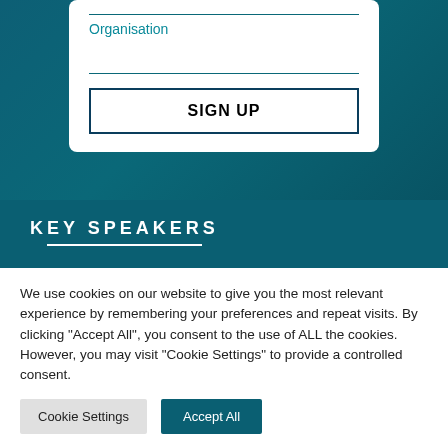Organisation
SIGN UP
KEY SPEAKERS
We use cookies on our website to give you the most relevant experience by remembering your preferences and repeat visits. By clicking "Accept All", you consent to the use of ALL the cookies. However, you may visit "Cookie Settings" to provide a controlled consent.
Cookie Settings
Accept All